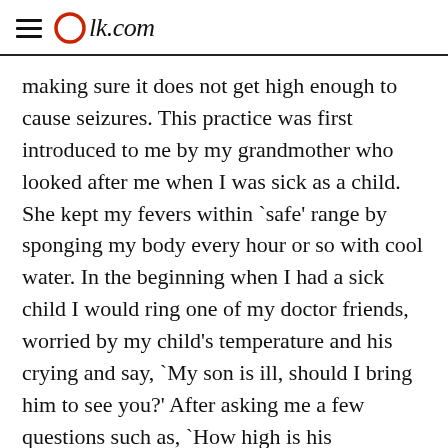Olk.com
making sure it does not get high enough to cause seizures. This practice was first introduced to me by my grandmother who looked after me when I was sick as a child. She kept my fevers within `safe' range by sponging my body every hour or so with cool water. In the beginning when I had a sick child I would ring one of my doctor friends, worried by my child's temperature and his crying and say, `My son is ill, should I bring him to see you?' After asking me a few questions such as, `How high is his temperature? When did it start? Is he eating?' and so forth, the doctor would advise me to keep an eye on him, give him plenty of